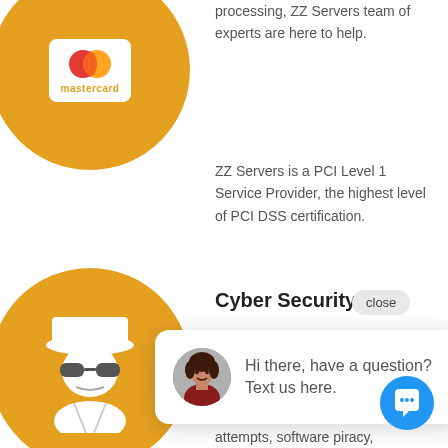[Figure (illustration): Gold circle with Mastercard logo (two overlapping circles, red and orange, on white card background) and 'mastercard' text label, top-left]
processing, ZZ Servers team of experts are here to help.
ZZ Servers is a PCI Level 1 Service Provider, the highest level of PCI DSS certification.
Cyber Security Risk
[Figure (illustration): Chat popup with female avatar photo and text: 'Hi there, have a question? Text us here.']
important to protect your company and keep it safe from cyber attacks, hacking attempts, software piracy,
[Figure (illustration): Gold circle with white spy/hacker icon (hat, sunglasses, suit) bottom-left]
[Figure (illustration): Blue circular chat/message button bottom-right]